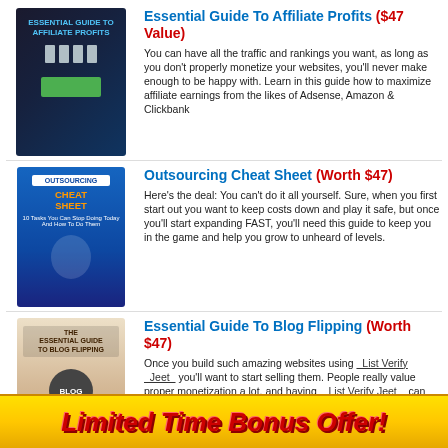[Figure (illustration): Book cover: Essential Guide To Affiliate Profits, dark blue cover with silhouettes]
Essential Guide To Affiliate Profits ($47 Value)
You can have all the traffic and rankings you want, as long as you don't properly monetize your websites, you'll never make enough to be happy with. Learn in this guide how to maximize affiliate earnings from the likes of Adsense, Amazon & Clickbank
[Figure (illustration): Book cover: Outsourcing Cheat Sheet, blue cover with person sitting]
Outsourcing Cheat Sheet (Worth $47)
Here's the deal: You can't do it all yourself. Sure, when you first start out you want to keep costs down and play it safe, but once you'll start expanding FAST, you'll need this guide to keep you in the game and help you grow to unheard of levels.
[Figure (illustration): Book cover: Essential Guide To Blog Flipping, tan/brown cover with blog circle]
Essential Guide To Blog Flipping (Worth $47)
Once you build such amazing websites using List Verify Jeet you'll want to start selling them. People really value proper monetization a lot, and having List Verify Jeet can help you tremendously in flipping the website for huge profits. In fact, you don't even need to be making any money to sell it on Flippa for over $500. You need this guide to show you how.
Limited Time Bonus Offer!